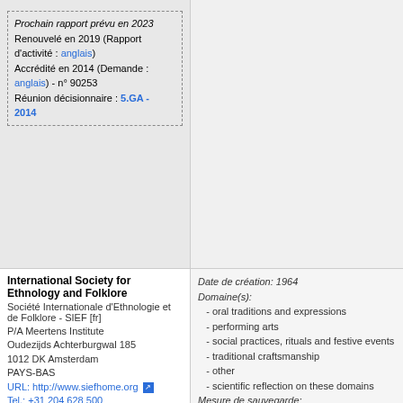Prochain rapport prévu en 2023
Renouvelé en 2019 (Rapport d'activité : anglais)
Accrédité en 2014 (Demande : anglais) - n° 90253
Réunion décisionnaire : 5.GA - 2014
International Society for Ethnology and Folklore
Société Internationale d'Ethnologie et de Folklore - SIEF [fr]
P/A Meertens Institute
Oudezijds Achterburgwal 185
1012 DK Amsterdam
PAYS-BAS
URL: http://www.siefhome.org
Tel.: +31 204 628 500
Prochain rapport prévu en 2023
Accrédité en 2018 (Demande : anglais) - n° 90385
Réunion décisionnaire : 7.GA - 2018
Date de création: 1964
Domaine(s):
- oral traditions and expressions
- performing arts
- social practices, rituals and festive events
- traditional craftsmanship
- other
- scientific reflection on these domains
Mesure de sauvegarde:
- identification, documentation, research (including inventory making)
Kenniscentrum Immaterieel
Date de création: 1992